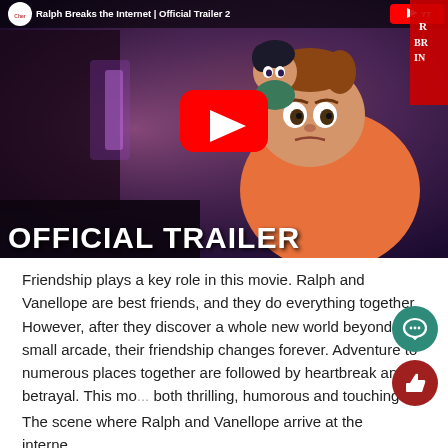[Figure (screenshot): YouTube video thumbnail for 'Ralph Breaks the Internet | Official Trailer 2' showing animated characters Ralph and Vanellope with a YouTube play button overlay and 'OFFICIAL TRAILER' text at the bottom.]
Friendship plays a key role in this movie. Ralph and Vanellope are best friends, and they do everything together. However, after they discover a whole new world beyond their small arcade, their friendship changes forever. Adventure to numerous places together are followed by heartbreak and betrayal. This mo... both thrilling, humorous and touching.
The scene where Ralph and Vanellope arrive at the interne...